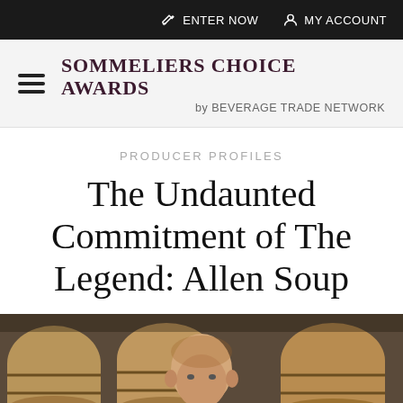ENTER NOW   MY ACCOUNT
SOMMELIERS CHOICE AWARDS by BEVERAGE TRADE NETWORK
PRODUCER PROFILES
The Undaunted Commitment of The Legend: Allen Soup
[Figure (photo): A bald man in a winery cellar surrounded by oak barrels]